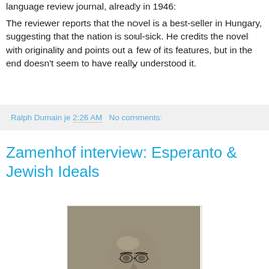language review journal, already in 1946:
The reviewer reports that the novel is a best-seller in Hungary, suggesting that the nation is soul-sick. He credits the novel with originality and points out a few of its features, but in the end doesn't seem to have really understood it.
Ralph Dumain je 2:26 AM   No comments:
Zamenhof interview: Esperanto & Jewish Ideals
[Figure (photo): Black and white portrait photograph of a bald man with glasses and a dark beard, wearing a dark suit with white collar, identified as Zamenhof.]